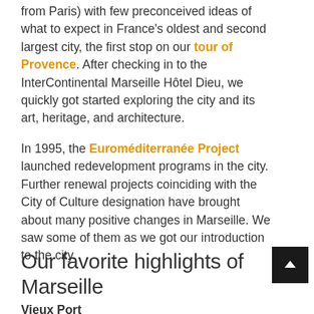from Paris) with few preconceived ideas of what to expect in France's oldest and second largest city, the first stop on our tour of Provence. After checking in to the InterContinental Marseille Hôtel Dieu, we quickly got started exploring the city and its art, heritage, and architecture.
In 1995, the Euroméditerranée Project launched redevelopment programs in the city. Further renewal projects coinciding with the City of Culture designation have brought about many positive changes in Marseille. We saw some of them as we got our introduction to the city.
Our favorite highlights of Marseille
Vieux Port